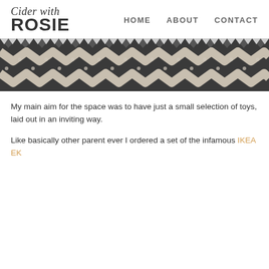Cider with ROSIE | HOME | ABOUT | CONTACT
[Figure (photo): Close-up photograph of a dark grey/charcoal and cream knitted or crocheted fabric with a zigzag/chevron pattern, shown as a horizontal banner strip.]
My main aim for the space was to have just a small selection of toys, laid out in an inviting way.
Like basically other parent ever I ordered a set of the infamous IKEA EK